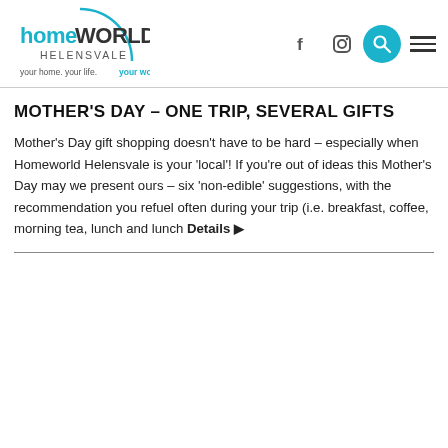homeWORLD HELENSVALE — your home. your life. your world.
MOTHER'S DAY – ONE TRIP, SEVERAL GIFTS
Mother's Day gift shopping doesn't have to be hard – especially when Homeworld Helensvale is your 'local'! If you're out of ideas this Mother's Day may we present ours – six 'non-edible' suggestions, with the recommendation you refuel often during your trip (i.e. breakfast, coffee, morning tea, lunch and lunch Details ▶